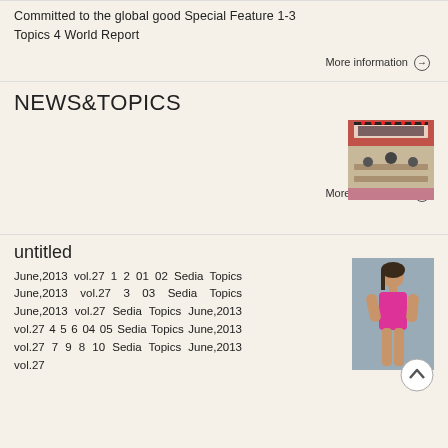Committed to the global good Special Feature 1-3 Topics 4 World Report
More information →
NEWS&TOPICS
[Figure (photo): Photo of a conference or event venue with audience]
More information →
untitled
June,2013 vol.27 1 2 01 02 Sedia Topics June,2013 vol.27 3 03 Sedia Topics June,2013 vol.27 Sedia Topics June,2013 vol.27 4 5 6 04 05 Sedia Topics June,2013 vol.27 7 9 8 10 Sedia Topics June,2013 vol.27
[Figure (photo): Photo of a woman in a pink swimsuit]